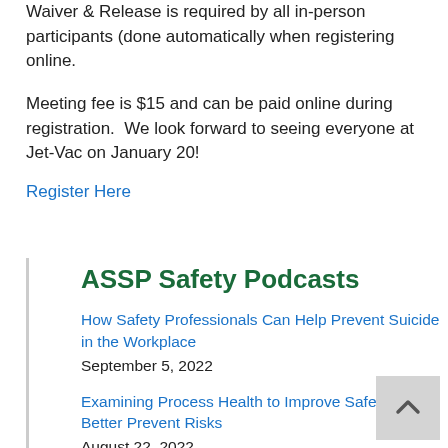Waiver & Release is required by all in-person participants (done automatically when registering online.
Meeting fee is $15 and can be paid online during registration.  We look forward to seeing everyone at Jet-Vac on January 20!
Register Here
ASSP Safety Podcasts
How Safety Professionals Can Help Prevent Suicide in the Workplace
September 5, 2022
Examining Process Health to Improve Safety and Better Prevent Risks
August 22, 2022